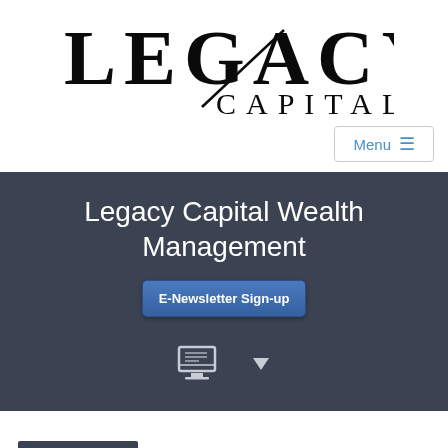[Figure (logo): Legacy Capital logo — large serif letters 'LEGACY' with a diagonal slash and 'CAPITAL' below in spaced capitals]
[Figure (screenshot): Menu button with hamburger icon, light border, blue text]
Legacy Capital Wealth Management
[Figure (other): E-Newsletter Sign-up button (blue gradient rounded rectangle)]
[Figure (other): Dark banner navigation area with monitor/newsletter icon and dropdown arrow]
[Figure (other): Dark thumbnail image placeholder in bottom white area]